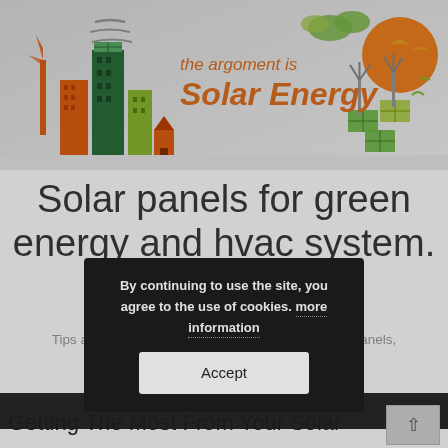[Figure (illustration): Solar energy themed banner illustration with colorful cartoon cityscape featuring orange and green buildings, windmill, solar panels, sun, birds and clouds on a light grey background. Orange italic text reads 'the argoment is Solar Energy'.]
Solar panels for green energy and hvac system.
Tips and tricks for making green energy with solar panels, a list of solar panels for the hvac system.
By continuing to use the site, you agree to the use of cookies. more information
Accept
Getting The Most From Your Solar